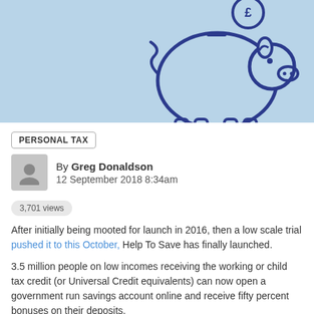[Figure (illustration): Light blue banner with a dark blue piggy bank icon and a pound sterling coin above it on the right side]
PERSONAL TAX
By Greg Donaldson
12 September 2018 8:34am
3,701 views
After initially being mooted for launch in 2016, then a low scale trial pushed it to this October, Help To Save has finally launched.
3.5 million people on low incomes receiving the working or child tax credit (or Universal Credit equivalents) can now open a government run savings account online and receive fifty percent bonuses on their deposits.